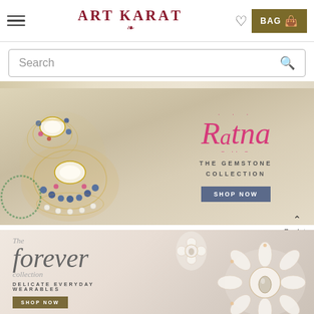Art Karat — navigation header with hamburger menu, logo, heart icon, and BAG button
Search
[Figure (photo): Banner showing gemstone jewelry (chandelier earrings with blue sapphires, rubies, and pearls on an ivory/cream background) on the left, and 'Ratna The Gemstone Collection — SHOP NOW' text on the right]
Back to Top
[Figure (photo): Banner showing 'The forever collection — DELICATE EVERYDAY WEARABLES — SHOP NOW' text on the left and diamond/crystal floral earrings on a blush/cream background on the right]